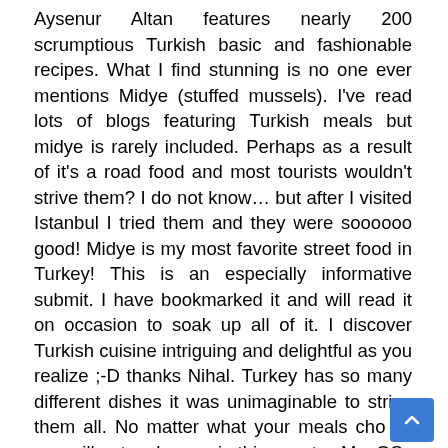Aysenur Altan features nearly 200 scrumptious Turkish basic and fashionable recipes. What I find stunning is no one ever mentions Midye (stuffed mussels). I've read lots of blogs featuring Turkish meals but midye is rarely included. Perhaps as a result of it's a road food and most tourists wouldn't strive them? I do not know… but after I visited Istanbul I tried them and they were soooooo good! Midye is my most favorite street food in Turkey! This is an especially informative submit. I have bookmarked it and will read it on occasion to soak up all of it. I discover Turkish cuisine intriguing and delightful as you realize ;-D thanks Nihal. Turkey has so many different dishes it was unimaginable to strive them all. No matter what your meals cho is, you will not go hungry in this country. MacOS